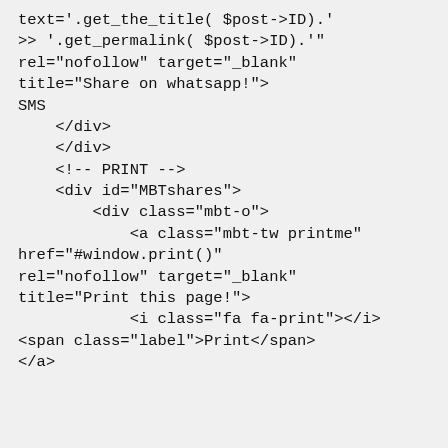text='.get_the_title( $post->ID).'
>> '.get_permalink( $post->ID).'"  rel="nofollow" target="_blank" title="Share on whatsapp!"><i class="fa fa-whatsapp"></i> <span class="label">SMS</span></a>
    </div>
    </div>
    <!-- PRINT -->
    <div id="MBTshares">
        <div class="mbt-o">
            <a class="mbt-tw printme" href="javascript:window.print()" rel="nofollow" target="_blank" title="Print this page!">
            <i class="fa fa-print"></i>
<span class="label">Print</span>
</a>